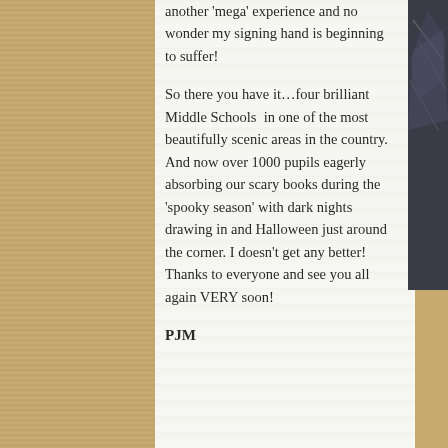another 'mega' experience and no wonder my signing hand is beginning to suffer!

So there you have it…four brilliant Middle Schools in one of the most beautifully scenic areas in the country. And now over 1000 pupils eagerly absorbing our scary books during the 'spooky season' with dark nights drawing in and Halloween just around the corner. I doesn't get any better! Thanks to everyone and see you all again VERY soon!

PJM